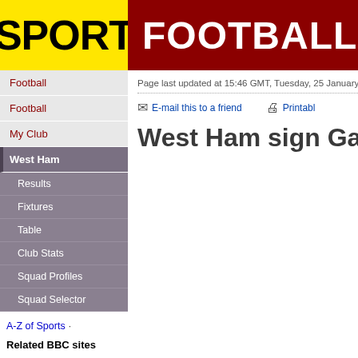SPORT | FOOTBALL
Page last updated at 15:46 GMT, Tuesday, 25 January
E-mail this to a friend   Printable
West Ham sign Gary O'N
Football
Football
My Club
West Ham
Results
Fixtures
Table
Club Stats
Squad Profiles
Squad Selector
A-Z of Sports
Related BBC sites
News
Weather
Sport Relief